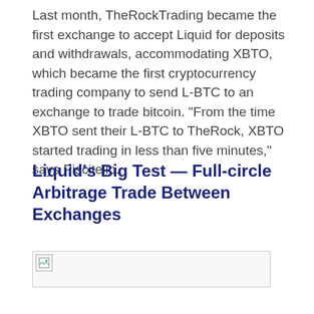Last month, TheRockTrading became the first exchange to accept Liquid for deposits and withdrawals, accommodating XBTO, which became the first cryptocurrency trading company to send L-BTC to an exchange to trade bitcoin. "From the time XBTO sent their L-BTC to TheRock, XBTO started trading in less than five minutes," says Piscitello.
Liquid's Big Test — Full-circle Arbitrage Trade Between Exchanges
[Figure (other): Broken/unloaded image placeholder]